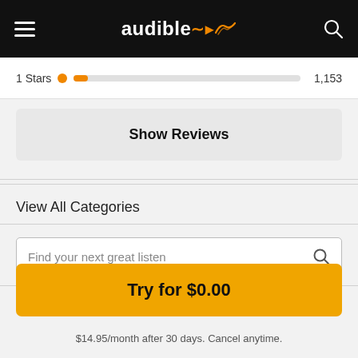audible
1 Stars  1,153
Show Reviews
View All Categories
Find your next great listen
Help Center
Try for $0.00
$14.95/month after 30 days. Cancel anytime.